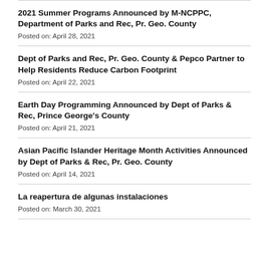2021 Summer Programs Announced by M-NCPPC, Department of Parks and Rec, Pr. Geo. County
Posted on: April 28, 2021
Dept of Parks and Rec, Pr. Geo. County & Pepco Partner to Help Residents Reduce Carbon Footprint
Posted on: April 22, 2021
Earth Day Programming Announced by Dept of Parks & Rec, Prince George's County
Posted on: April 21, 2021
Asian Pacific Islander Heritage Month Activities Announced by Dept of Parks & Rec, Pr. Geo. County
Posted on: April 14, 2021
La reapertura de algunas instalaciones
Posted on: March 30, 2021